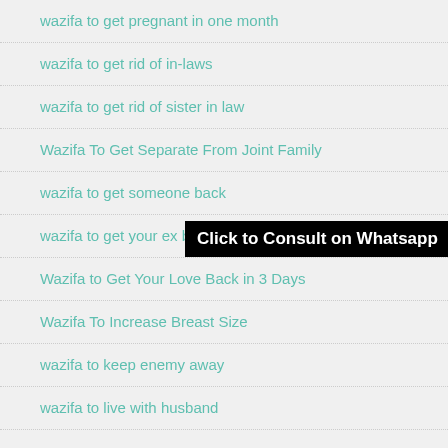wazifa to get pregnant in one month
wazifa to get rid of in-laws
wazifa to get rid of sister in law
Wazifa To Get Separate From Joint Family
wazifa to get someone back
wazifa to get your ex back
Wazifa to Get Your Love Back in 3 Days
Wazifa To Increase Breast Size
wazifa to keep enemy away
wazifa to live with husband